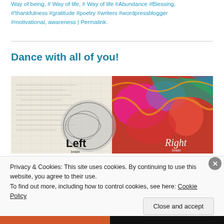Way of being, # Way of life, # Way of life #Abundance #Blessing, #'thankfulness #gratitude #poetry #writers #wordpressblogger #motivational, awareness | Permalink.
Dance with all of you!
[Figure (photo): Brain illustration showing left brain (black and white, analytical) and right brain (colorful, artistic). Labels: Left brain, Right brain.]
Privacy & Cookies: This site uses cookies. By continuing to use this website, you agree to their use.
To find out more, including how to control cookies, see here: Cookie Policy
Close and accept